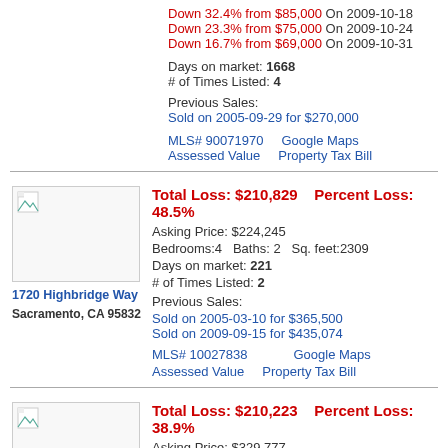Down 32.4% from $85,000 On 2009-10-18
Down 23.3% from $75,000 On 2009-10-24
Down 16.7% from $69,000 On 2009-10-31
Days on market: 1668
# of Times Listed: 4
Previous Sales:
Sold on 2005-09-29 for $270,000
MLS# 90071970    Google Maps
Assessed Value    Property Tax Bill
Total Loss: $210,829    Percent Loss: 48.5%
Asking Price: $224,245
Bedrooms:4   Baths: 2   Sq. feet:2309
Days on market: 221
# of Times Listed: 2
1720 Highbridge Way
Sacramento, CA 95832
Previous Sales:
Sold on 2005-03-10 for $365,500
Sold on 2009-09-15 for $435,074
MLS# 10027838    Google Maps
Assessed Value    Property Tax Bill
Total Loss: $210,223    Percent Loss: 38.9%
Asking Price: $329,777